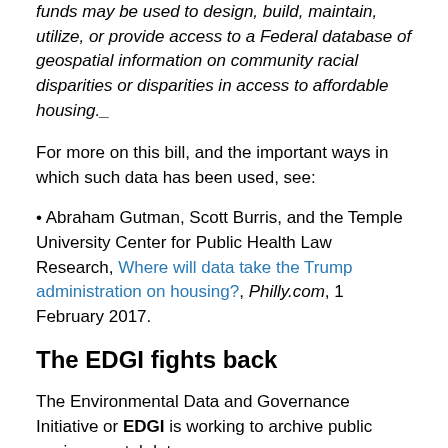Notwithstanding any other provision of law, no Federal funds may be used to design, build, maintain, utilize, or provide access to a Federal database of geospatial information on community racial disparities or disparities in access to affordable housing._
For more on this bill, and the important ways in which such data has been used, see:
• Abraham Gutman, Scott Burris, and the Temple University Center for Public Health Law Research, Where will data take the Trump administration on housing?, Philly.com, 1 February 2017.
The EDGI fights back
The Environmental Data and Governance Initiative or EDGI is working to archive public environmental data